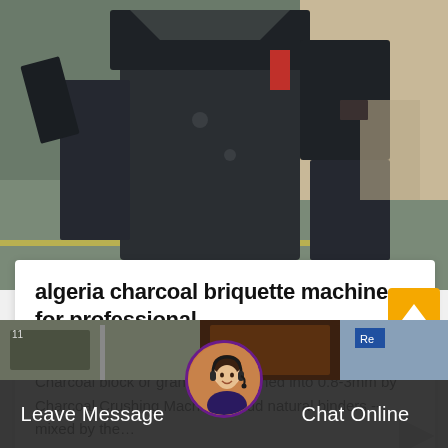[Figure (photo): Industrial charcoal briquette machine in a factory/warehouse setting, dark grey heavy machinery with multiple components, on a grey floor]
algeria charcoal briquette machine for professional
Working Process of briquette pressing machine, Charcoal block or granules -- crushed into 0.8-3mm by Charcoal Crushing Machine -- add natural binders -- mixed by the...
[Figure (photo): Second industrial machine photo strip at bottom of page]
Leave Message  Chat Online